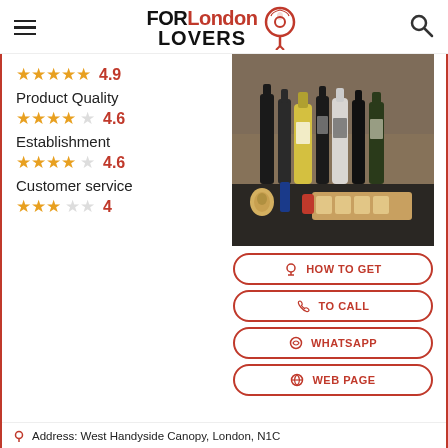FORLondon LOVERS
4.9
Product Quality
4.6
Establishment
4.6
Customer service
4
[Figure (photo): Photo of various bottles of olive oil and other products displayed on a table at a market or store]
HOW TO GET
TO CALL
WHATSAPP
WEB PAGE
Address: West Handyside Canopy, London, N1C